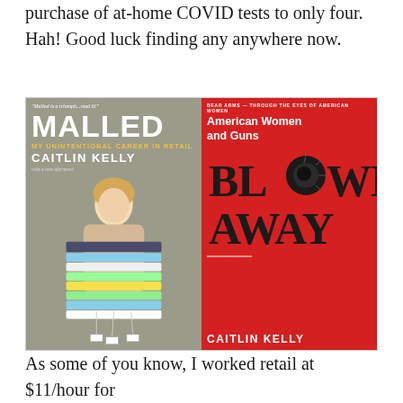purchase of at-home COVID tests to only four. Hah! Good luck finding any anywhere now.
[Figure (photo): Two book covers by Caitlin Kelly side by side. Left: 'Malled: My Unintentional Career in Retail' by Caitlin Kelly, showing a woman holding a large stack of folded clothes. Right: 'Blown Away: American Women and Guns' by Caitlin Kelly, red cover with large black text.]
As some of you know, I worked retail at $11/hour for